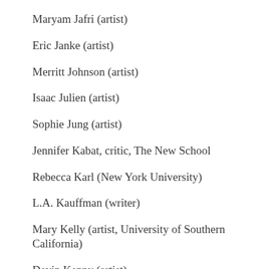Maryam Jafri (artist)
Eric Janke (artist)
Merritt Johnson (artist)
Isaac Julien (artist)
Sophie Jung (artist)
Jennifer Kabat, critic, The New School
Rebecca Karl (New York University)
L.A. Kauffman (writer)
Mary Kelly (artist, University of Southern California)
Devin Kenny (artist)